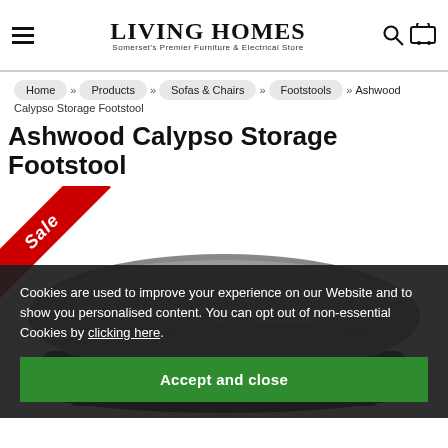LIVING HOMES — Somerset's Premier Furniture & Electrical Store
Home » Products » Sofas & Chairs » Footstools » Ashwood Calypso Storage Footstool
Ashwood Calypso Storage Footstool
[Figure (photo): Photo of a grey fabric storage footstool with a Sale ribbon badge in the top-left corner. The footstool has rounded corners and sits on dark legs.]
Cookies are used to improve your experience on our Website and to show you personalised content. You can opt out of non-essential Cookies by clicking here.
Accept and close